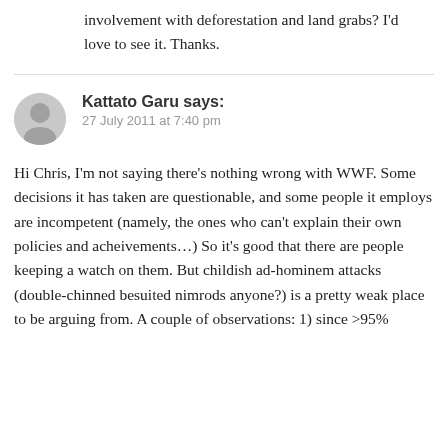involvement with deforestation and land grabs? I'd love to see it. Thanks.
Kattato Garu says:
27 July 2011 at 7:40 pm

Hi Chris, I'm not saying there's nothing wrong with WWF. Some decisions it has taken are questionable, and some people it employs are incompetent (namely, the ones who can't explain their own policies and acheivements…) So it's good that there are people keeping a watch on them. But childish ad-hominem attacks (double-chinned besuited nimrods anyone?) is a pretty weak place to be arguing from. A couple of observations: 1) since >95%